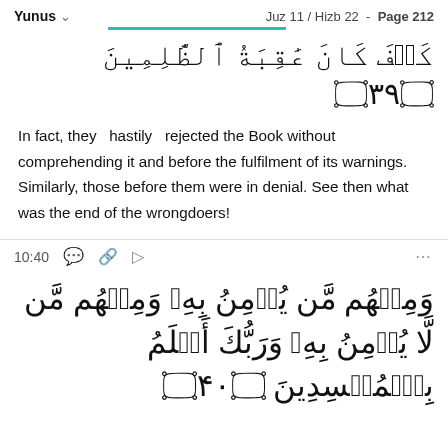Yunus  Juz 11 / Hizb 22 - Page 212
[Figure (other): Arabic Quran verse 39 in large decorative Arabic calligraphy with verse number ornament circle containing ٣٩]
In fact, they hastily rejected the Book without comprehending it and before the fulfilment of its warnings. Similarly, those before them were in denial. See then what was the end of the wrongdoers!
10:40
[Figure (other): Arabic Quran verse 40 in large decorative Arabic calligraphy with verse number ornament circle containing ٤٠]